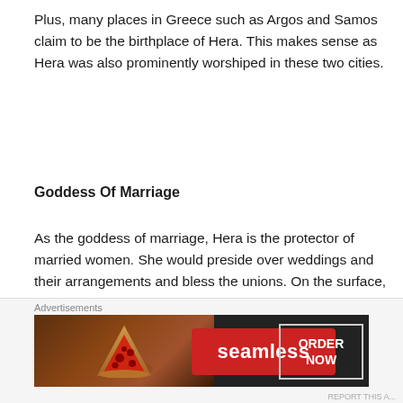Plus, many places in Greece such as Argos and Samos claim to be the birthplace of Hera. This makes sense as Hera was also prominently worshiped in these two cities.
Goddess Of Marriage
As the goddess of marriage, Hera is the protector of married women. She would preside over weddings and their arrangements and bless the unions. On the surface, that seems great until you look at the Greek myths and what life was like for Grecian women. Here it’s a bit spotty as we don’t have good records to show, but the general idea and belief are that Grecian women held fewer rights than men in regard to voting, owning land or inheritance,
Advertisements
[Figure (screenshot): Seamless food delivery advertisement banner with pizza image on left, Seamless red logo in center, and ORDER NOW button on right]